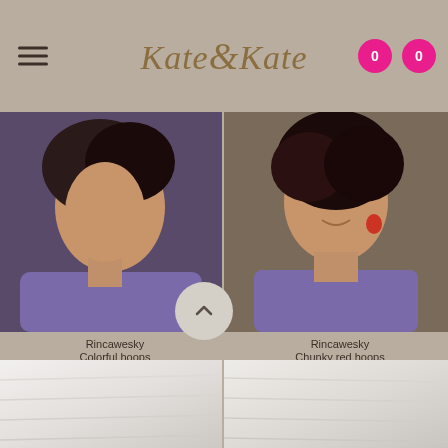Kate&Kate
[Figure (photo): Woman wearing colorful hoop earrings and a rainbow bracelet, purple blouse, with a small cross pendant necklace. Side profile view.]
Rincawesky
Colorful hoops
SHE'S A RAINBOW
€ 77,00
[Figure (photo): Woman wearing chunky red hoop earrings, smiling, purple blouse, with a small cross pendant necklace. Front-facing view.]
Rincawesky
Chunky red hoops
LOVE ALL AROU
€ 43,00
[Figure (photo): Bottom left partial product image — white/light fabric texture]
[Figure (photo): Bottom right partial product image — white/light fabric texture]